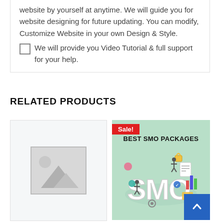website by yourself at anytime. We will guide you for website designing for future updating. You can modify, Customize Website in your own Design & Style.
We will provide you Video Tutorial & full support for your help.
RELATED PRODUCTS
[Figure (photo): Placeholder image with mountain/landscape icon in a grey box]
[Figure (illustration): Best SMO Packages promotional image with 3D SMO text, social media icons, people figures, charts on a mint green background. Has a Sale! badge.]